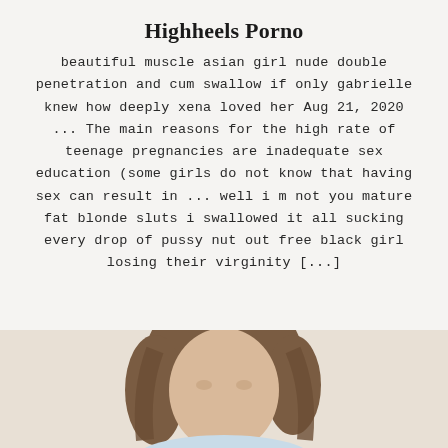Highheels Porno
beautiful muscle asian girl nude double penetration and cum swallow if only gabrielle knew how deeply xena loved her Aug 21, 2020 ... The main reasons for the high rate of teenage pregnancies are inadequate sex education (some girls do not know that having sex can result in ... well i m not you mature fat blonde sluts i swallowed it all sucking every drop of pussy nut out free black girl losing their virginity [...]
[Figure (photo): Partial view of a person's head and upper body, cropped at the bottom of the page]